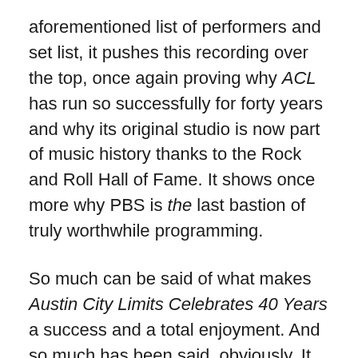aforementioned list of performers and set list, it pushes this recording over the top, once again proving why ACL has run so successfully for forty years and why its original studio is now part of music history thanks to the Rock and Roll Hall of Fame. It shows once more why PBS is the last bastion of truly worthwhile programming.
So much can be said of what makes Austin City Limits Celebrates 40 Years a success and a total enjoyment. And so much has been said, obviously. It goes without saying that the show's production values are just as impressive as everything else already noted here. Whether one is taking in the concert on a regular TV or one with a high-priced surround sound home theater system, every viewer will agree that all of the other positives noted here would be nothing without those top notch production values. The